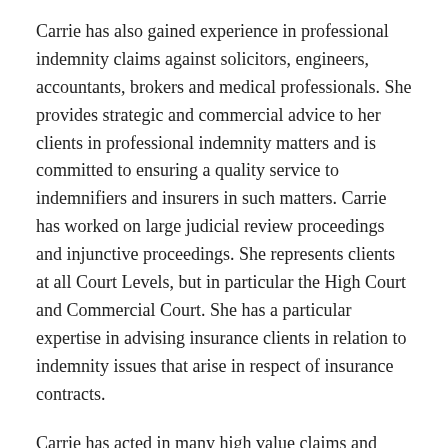Carrie has also gained experience in professional indemnity claims against solicitors, engineers, accountants, brokers and medical professionals. She provides strategic and commercial advice to her clients in professional indemnity matters and is committed to ensuring a quality service to indemnifiers and insurers in such matters. Carrie has worked on large judicial review proceedings and injunctive proceedings. She represents clients at all Court Levels, but in particular the High Court and Commercial Court. She has a particular expertise in advising insurance clients in relation to indemnity issues that arise in respect of insurance contracts.
Carrie has acted in many high value claims and tortious disputes. Carrie has advised clients in areas of tort law, contract law, constitutional law, administrative law, judicial review law and equitable law. Carrie is also a regular guest of the Insurance Institute as an expert speaker on